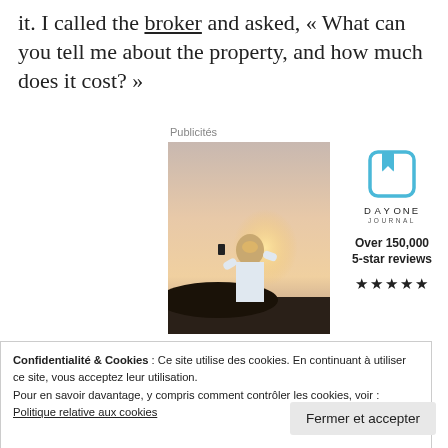it. I called the broker and asked, « What can you tell me about the property, and how much does it cost? »
Publicités
[Figure (photo): Person photographing a sunset, viewed from behind, wearing a white t-shirt]
[Figure (logo): Day One Journal logo with bookmark icon, text 'DAYONE JOURNAL', 'Over 150,000 5-star reviews' and five black stars]
Confidentialité & Cookies : Ce site utilise des cookies. En continuant à utiliser ce site, vous acceptez leur utilisation.
Pour en savoir davantage, y compris comment contrôler les cookies, voir : Politique relative aux cookies
Fermer et accepter